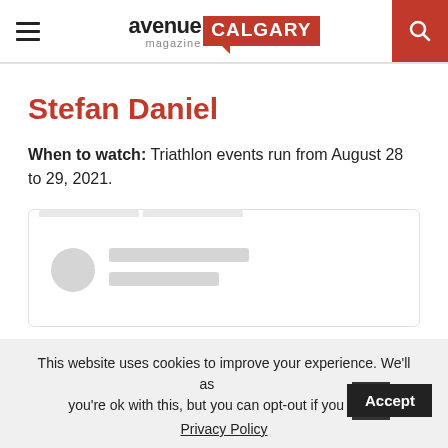avenue magazine CALGARY
Stefan Daniel
When to watch: Triathlon events run from August 28 to 29, 2021.
[Figure (other): Embedded social media card placeholder with avatar circle and two grey loading bars]
This website uses cookies to improve your experience. We'll assume you're ok with this, but you can opt-out if you wish.
Privacy Policy